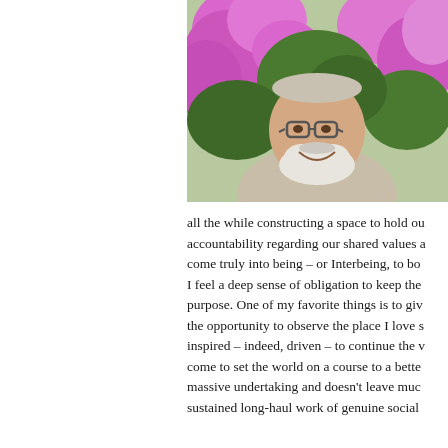[Figure (photo): Older man with white beard and glasses, smiling, wearing a light gray/beige sweatshirt, seated in front of bright pink/purple flowers and green foliage outdoors.]
all the while constructing a space to hold ou accountability regarding our shared values a come truly into being – or Interbeing, to bo I feel a deep sense of obligation to keep the purpose. One of my favorite things is to giv the opportunity to observe the place I love s inspired – indeed, driven – to continue the v come to set the world on a course to a bette massive undertaking and doesn't leave muc sustained long-haul work of genuine social